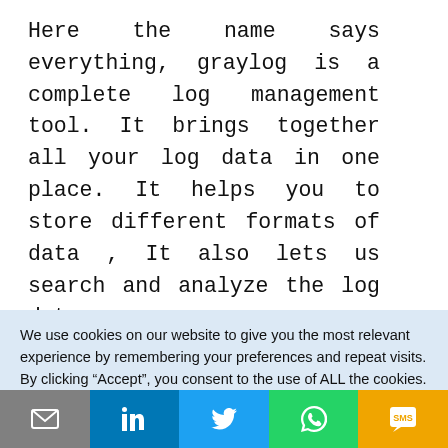Here the name says everything, graylog is a complete log management tool. It brings together all your log data in one place. It helps you to store different formats of data , It also lets us search and analyze the log data.
[Figure (other): Broken image placeholder icon followed by hyperlink text 'graylog-devops' in blue bold font]
We use cookies on our website to give you the most relevant experience by remembering your preferences and repeat visits. By clicking “Accept”, you consent to the use of ALL the cookies.
Cookie settings   I Accept
[Figure (infographic): Bottom navigation bar with five colored sections: email icon (gray), LinkedIn icon (blue), Twitter icon (light blue), WhatsApp icon (green), SMS icon (amber/orange)]